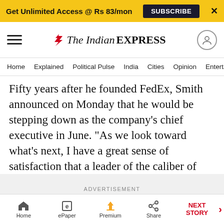Get Unlimited Access @ Rs 83/mon   SUBSCRIBE   X
[Figure (logo): The Indian Express logo with hamburger menu and user icon]
Home   Explained   Political Pulse   India   Cities   Opinion   Entertainment
Fifty years after he founded FedEx, Smith announced on Monday that he would be stepping down as the company's chief executive in June. “As we look toward what’s next, I have a great sense of satisfaction that a leader of the caliber of Raj Subramaniam will take FedEx into a very successful future,” he said in a statement.
ADVERTISEMENT
Home   ePaper   Premium   Share   NEXT STORY